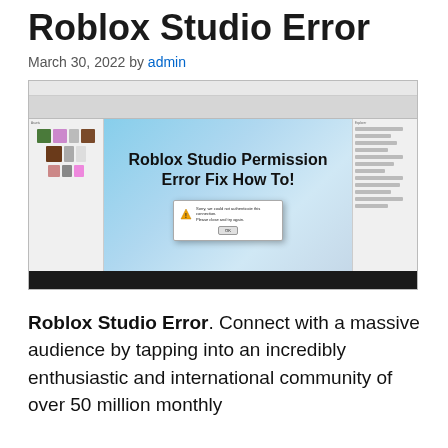Roblox Studio Error
March 30, 2022 by admin
[Figure (screenshot): Screenshot of Roblox Studio showing a permission error dialog on a light blue background with the overlay text 'Roblox Studio Permission Error Fix How To!']
Roblox Studio Error. Connect with a massive audience by tapping into an incredibly enthusiastic and international community of over 50 million monthly